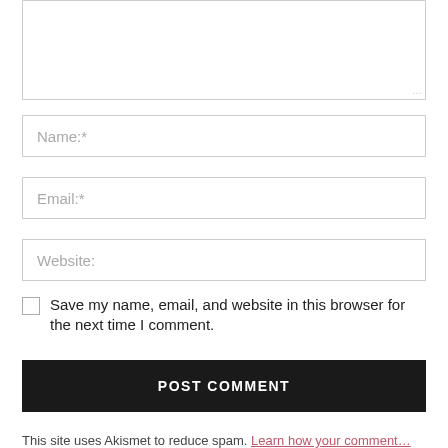[Figure (screenshot): A comment form textarea (partially visible, top cropped) with a resize handle in the bottom-right corner]
Name:*
Email:*
Website:
Save my name, email, and website in this browser for the next time I comment.
POST COMMENT
This site uses Akismet to reduce spam. Learn how your comment…